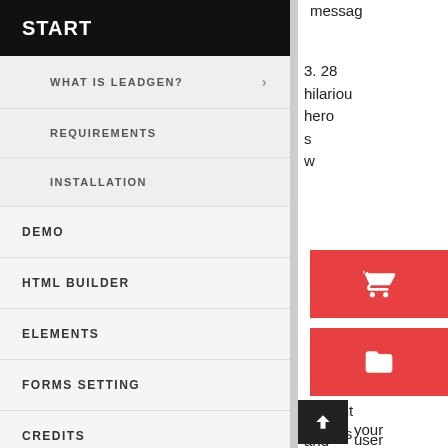START
WHAT IS LEADGEN?
REQUIREMENTS
INSTALLATION
DEMO
HTML BUILDER
ELEMENTS
FORMS SETTING
CREDITS
messag
3. 28 hilarious hero s w
[Figure (screenshot): Red button with shopping cart icon]
[Figure (screenshot): Red button with folder icon]
content images and call to action to make your user